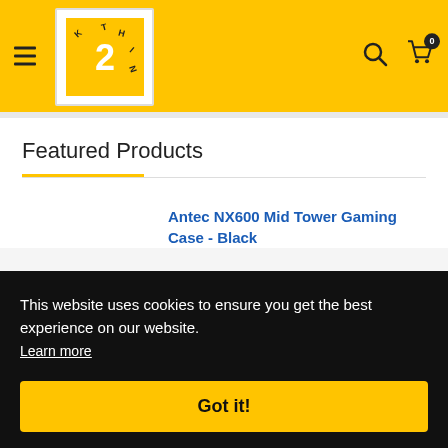[Figure (logo): Think2IT logo - yellow background header with hamburger menu, logo box with lightbulb/2 graphic, search and cart icons]
Featured Products
Antec NX600 Mid Tower Gaming Case - Black
This website uses cookies to ensure you get the best experience on our website. Learn more
Got it!